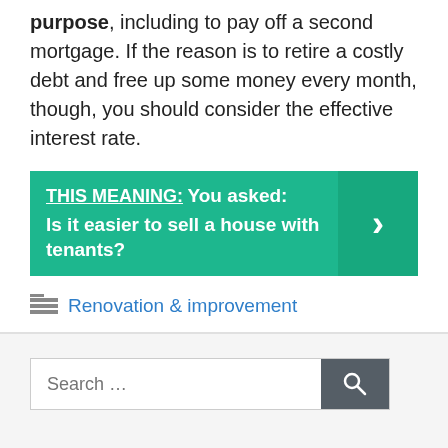purpose, including to pay off a second mortgage. If the reason is to retire a costly debt and free up some money every month, though, you should consider the effective interest rate.
[Figure (infographic): Teal callout box with text: THIS MEANING: You asked: Is it easier to sell a house with tenants? with a right arrow chevron on the right side.]
Renovation & improvement
Search ...